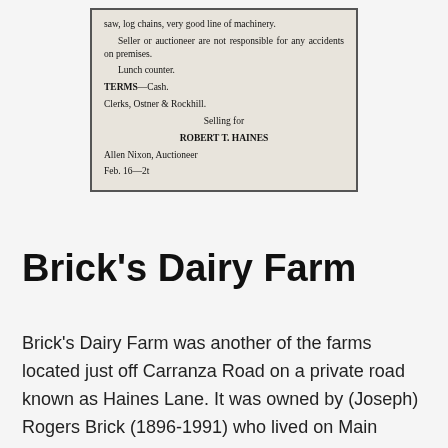[Figure (other): Scanned newspaper clipping showing auction sale details for Robert T. Haines, with text about seller/auctioneer liability, lunch counter, terms, clerks, and Allen Nixon as auctioneer dated Feb. 16-2t]
Brick's Dairy Farm
Brick's Dairy Farm was another of the farms located just off Carranza Road on a private road known as Haines Lane. It was owned by (Joseph) Rogers Brick (1896-1991) who lived on Main Street in Medford and also owned the Medford Concrete Company. The farm was overseen by a